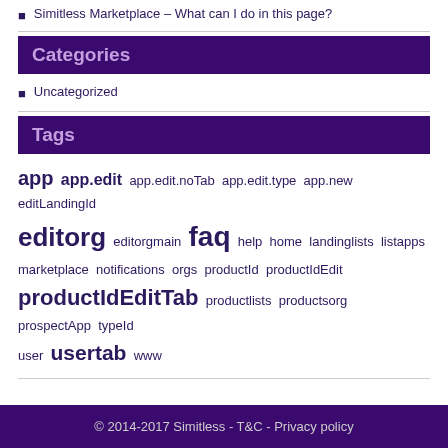Simitless Marketplace – What can I do in this page?
Categories
Uncategorized
Tags
app app.edit app.edit.noTab app.edit.type app.new editLandingId editorg editorgmain faq help home landinglists listapps marketplace notifications orgs productId productIdEdit productIdEditTab productlists productsorg prospectApp typeId user usertab www
© 2014-2017 Simitless - T&C - Privacy policy